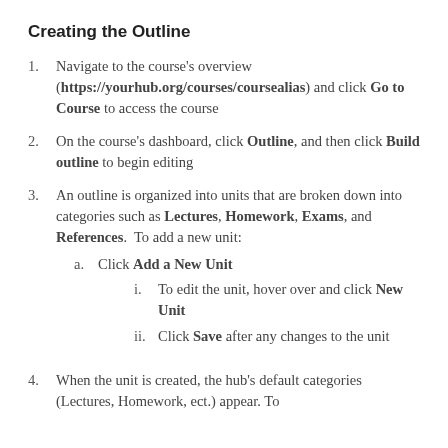Creating the Outline
Navigate to the course's overview (https://yourhub.org/courses/coursealias) and click Go to Course to access the course
On the course's dashboard, click Outline, and then click Build outline to begin editing
An outline is organized into units that are broken down into categories such as Lectures, Homework, Exams, and References.  To add a new unit:
Click Add a New Unit
To edit the unit, hover over and click New Unit
Click Save after any changes to the unit
When the unit is created, the hub's default categories (Lectures, Homework, ect.) appear. To